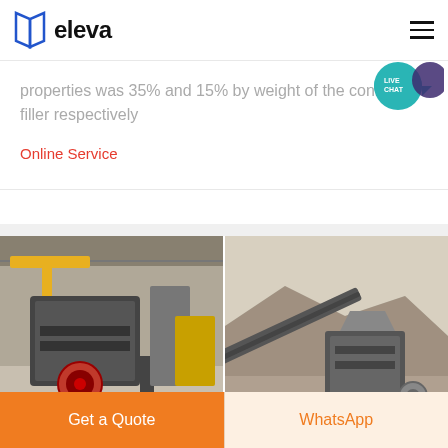[Figure (logo): Eleva company logo with blue book-like icon and bold 'eleva' text]
properties was 35% and 15% by weight of the control filler respectively
Online Service
[Figure (photo): Two industrial mining/crushing machinery photos side by side — left shows crusher machine in factory hall, right shows conveyor belt and crusher on quarry site]
Get a Quote
WhatsApp